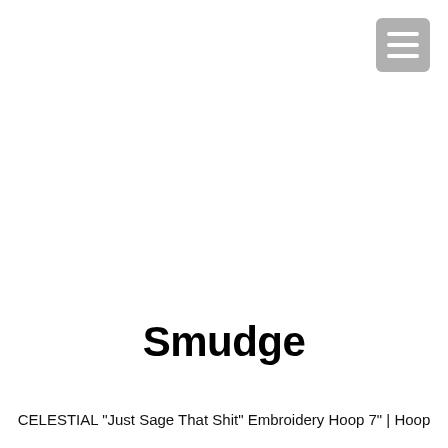[Figure (other): Hamburger menu button icon — three horizontal white lines on a grey rounded rectangle background, positioned top right.]
Smudge
CELESTIAL "Just Sage That Shit" Embroidery Hoop 7" | Hoop